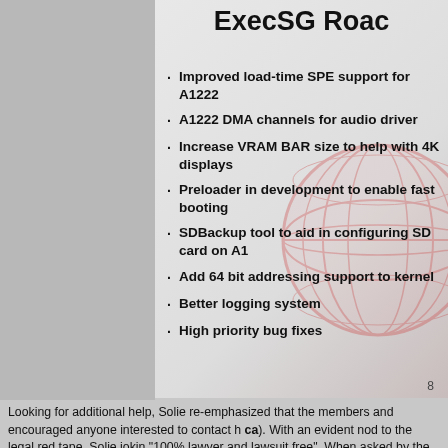ExecSG Roac
Improved load-time SPE support for A1222
A1222 DMA channels for audio driver
Increase VRAM BAR size to help with 4K displays
Preloader in development to enable fast booting
SDBackup tool to aid in configuring SD card on A1
Add 64 bit addressing support to kernel
Better logging system
High priority bug fixes
8
Looking for additional help, Solie re-emphasized that the members and encouraged anyone interested to contact h ca). With an evident nod to the legal red tape, Solie jokin "100% lawyer and lawsuit free". When asked by the audi proper memory protection for AmigaOS is not currently o team's radar. "We have so much else to do", Solie laughe memory protection is actually planned for with each OS t memory space. When asked by moderator Bill Borsari, S